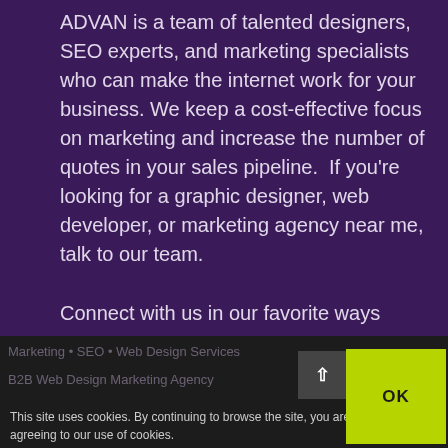ADVAN is a team of talented designers, SEO experts, and marketing specialists who can make the internet work for your business. We keep a cost-effective focus on marketing and increase the number of quotes in your sales pipeline.  If you're looking for a graphic designer, web developer, or marketing agency near me, talk to our team.
Connect with us in our favorite ways
[Figure (illustration): Four social media icons (Facebook, Twitter, Instagram, LinkedIn) as yellow-green circles with dark symbols]
MARKETING SERVICES
Marketing • SEO • Web Design Services
B2B Web Design Marketing Agency
This site uses cookies. By continuing to browse the site, you are agreeing to our use of cookies.